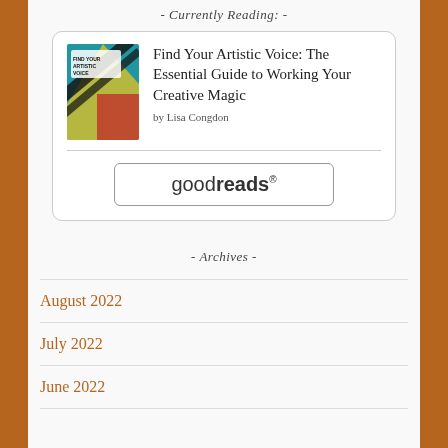- Currently Reading: -
[Figure (other): Book widget card showing cover of 'Find Your Artistic Voice: The Essential Guide to Working Your Creative Magic' by Lisa Congdon with a goodreads button]
Find Your Artistic Voice: The Essential Guide to Working Your Creative Magic
by Lisa Congdon
- Archives -
August 2022
July 2022
June 2022